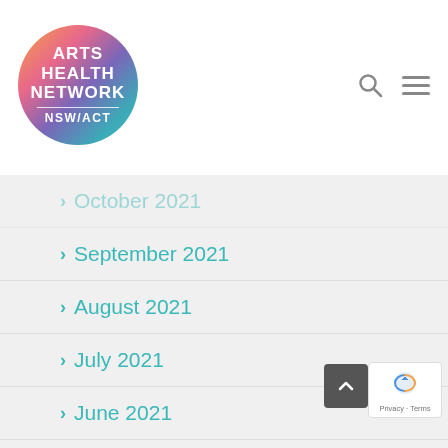[Figure (logo): Arts Health Network NSW/ACT circular logo with gradient background (orange, pink, purple, teal). White bold text reads ARTS HEALTH NETWORK with NSW/ACT below a horizontal rule.]
October 2021
September 2021
August 2021
July 2021
June 2021
November 2020
October 2020